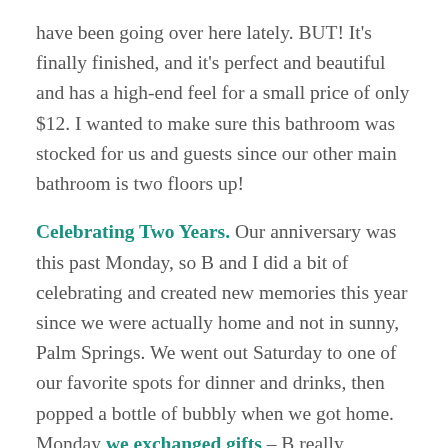have been going over here lately. BUT! It's finally finished, and it's perfect and beautiful and has a high-end feel for a small price of only $12. I wanted to make sure this bathroom was stocked for us and guests since our other main bathroom is two floors up!
Celebrating Two Years. Our anniversary was this past Monday, so B and I did a bit of celebrating and created new memories this year since we were actually home and not in sunny, Palm Springs. We went out Saturday to one of our favorite spots for dinner and drinks, then popped a bottle of bubbly when we got home. Monday we exchanged gifts – B really knocked it out of the park by creating roses out of cotton rounds (picture above), something he thought of all on his own.  He also had the vows he wrote me, but never shared since we had a Catholic ceremony, on cotton paper! These were the first